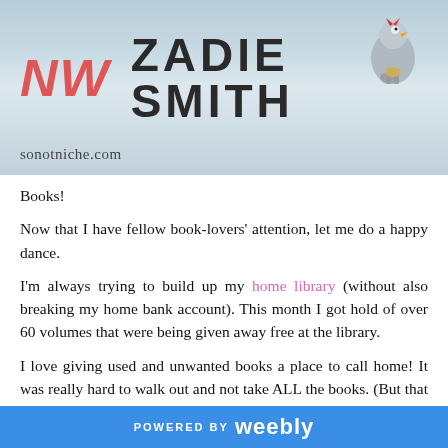[Figure (photo): Book spine photo showing 'NW' in red italic text and 'ZADIE SMITH' in large dark bold letters on a light blue/grey background, with a ceramic rooster figurine on the right and the website text 'sonotniche.com' at the bottom left]
Books!
Now that I have fellow book-lovers' attention, let me do a happy dance.
I'm always trying to build up my home library (without also breaking my home bank account). This month I got hold of over 60 volumes that were being given away free at the library.
I love giving used and unwanted books a place to call home! It was really hard to walk out and not take ALL the books. (But that wouldn't be nice or fair to others.)
POWERED BY weebly